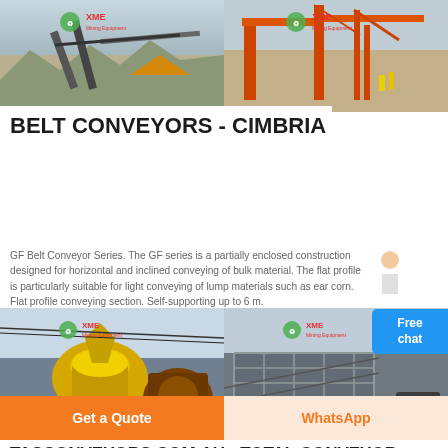[Figure (photo): Two industrial quarry/mining site photos side by side with XME Mining Equipment logos, showing conveyor belts and mining machinery]
BELT CONVEYORS - CIMBRIA
GF Belt Conveyor Series. The GF series is a partially enclosed construction designed for horizontal and inclined conveying of bulk material. The flat profile is particularly suitable for light conveying of lump materials such as ear corn. Flat profile conveying section. Self-supporting up to 6 m.
[Figure (photo): Two industrial mining/processing plant photos side by side with XME logos, showing yellow cone crusher and industrial facility overview]
TASCONVEYORS.COM.AU - TOTAL CONVEYOR MANAGEMENT
Get a Quote
WhatsApp